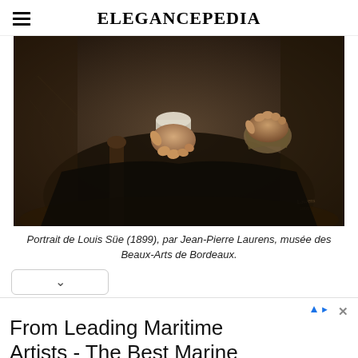ELEGANCEPEDIA
[Figure (photo): Painting: Portrait de Louis Süe (1899) by Jean-Pierre Laurens. Dark oil painting showing two hands of a seated figure, one resting on a knee and the other holding a piece of cloth, with a dark background.]
Portrait de Louis Süe (1899), par Jean-Pierre Laurens, musée des Beaux-Arts de Bordeaux.
From Leading Maritime Artists - The Best Marine Art Gallery
Since 1997, our Gallery has featured leading Marine Artists including Don Demers, jrusselljinishiangallery.com